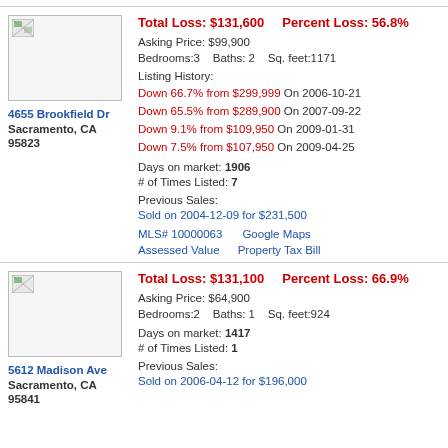[Figure (photo): Property image placeholder for 4655 Brookfield Dr]
Total Loss: $131,600    Percent Loss: 56.8%
Asking Price: $99,900
Bedrooms:3   Baths: 2   Sq. feet:1171
Listing History:
Down 66.7% from $299,999 On 2006-10-21
Down 65.5% from $289,900 On 2007-09-22
Down 9.1% from $109,950 On 2009-01-31
Down 7.5% from $107,950 On 2009-04-25
Days on market: 1906
# of Times Listed: 7
Previous Sales:
Sold on 2004-12-09 for $231,500
MLS# 10000063    Google Maps
Assessed Value    Property Tax Bill
4655 Brookfield Dr
Sacramento, CA 95823
[Figure (photo): Property image placeholder for 5612 Madison Ave]
Total Loss: $131,100    Percent Loss: 66.9%
Asking Price: $64,900
Bedrooms:2   Baths: 1   Sq. feet:924
Days on market: 1417
# of Times Listed: 1
Previous Sales:
Sold on 2006-04-12 for $196,000
5612 Madison Ave
Sacramento, CA 95841